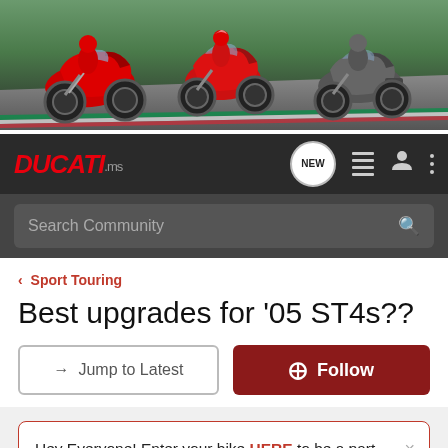[Figure (photo): Hero banner showing three Ducati motorcycles on a racetrack — a red Panigale sportbike on the left, a red Hypermotard in the center, and a gray touring bike on the right.]
DUCATI.ms  NEW
Search Community
< Sport Touring
Best upgrades for '05 ST4s??
→ Jump to Latest    ⊕ Follow
Hey Everyone! Enter your bike HERE to be a part of this months Bike of the Month Challenge!